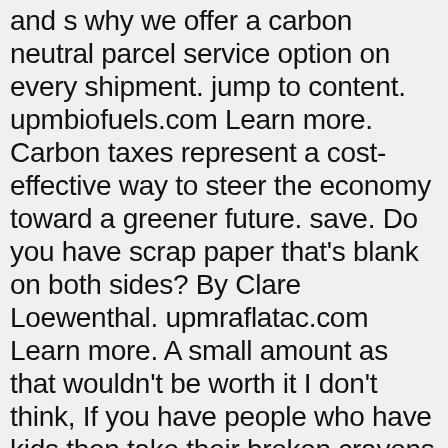and s why we offer a carbon neutral parcel service option on every shipment. jump to content. upmbiofuels.com Learn more. Carbon taxes represent a cost-effective way to steer the economy toward a greener future. save. Do you have scrap paper that's blank on both sides? By Clare Loewenthal. upmraflatac.com Learn more. A small amount as that wouldn't be worth it I don't think, If you have people who have kids then take their broken crayons and melt those too and give them back crayons. 25 March 2020 Suspension of Money Back Guarantee. By participating in the UPS carbon neutral … It usually contains three B cells in series. This service is offered to shippers in certain countries. Is that option expensive? See What Else UPS is Doing to Reduce our Environmental Impact Popular musician and challenger Bobi Wine wants to build a united coalition. Thanks for catching that, Dustin. From black and brown to oxblood and blue, we break down the best trouser colours to wear with them